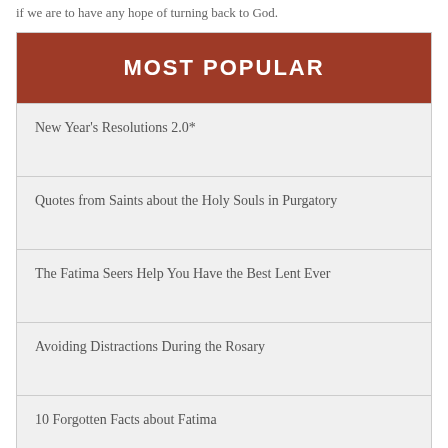if we are to have any hope of turning back to God.
MOST POPULAR
New Year's Resolutions 2.0*
Quotes from Saints about the Holy Souls in Purgatory
The Fatima Seers Help You Have the Best Lent Ever
Avoiding Distractions During the Rosary
10 Forgotten Facts about Fatima